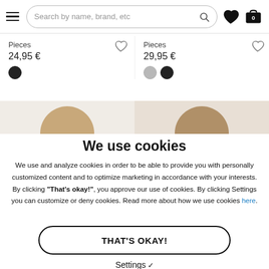Search by name, brand, etc
Pieces
24,95 €
Pieces
29,95 €
[Figure (screenshot): Two partial product images showing models with brown hair on beige/tan backgrounds]
We use cookies
We use and analyze cookies in order to be able to provide you with personally customized content and to optimize marketing in accordance with your interests. By clicking "That's okay!", you approve our use of cookies. By clicking Settings you can customize or deny cookies. Read more about how we use cookies here.
THAT'S OKAY!
Settings